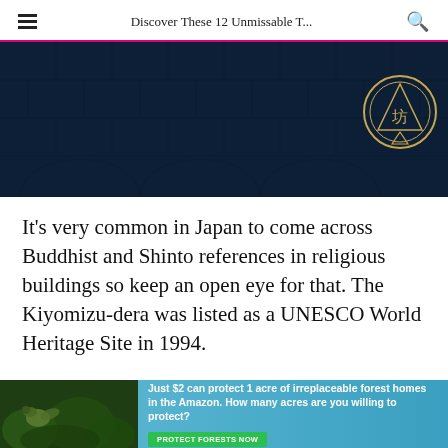Discover These 12 Unmissable T...
[Figure (photo): Dark blue decorative temple roof or wall with stone/tile texture and a circular gold emblem with Japanese kanji character in the upper right area]
It’s very common in Japan to come across Buddhist and Shinto references in religious buildings so keep an open eye for that. The Kiyomizu-dera was listed as a UNESCO World Heritage Site in 1994.
[Figure (photo): Advertisement banner: forest/Amazon jungle background with bird, text reading 'Just $2 can protect 1 acre of irreplaceable forest homes in the Amazon. How many acres are you willing to protect?' with green button 'PROTECT FORESTS NOW']